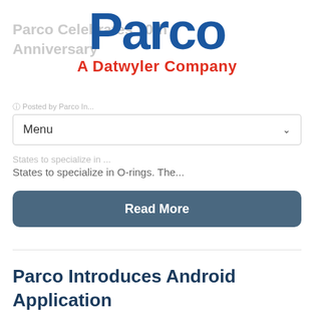[Figure (logo): Parco - A Datwyler Company logo with large blue 'Parco' text and red tagline]
Parco Celebrates 70th Anniversary
Posted by Parco In...
Menu
States to specialize in O-rings. The...
Read More
Parco Introduces Android Application